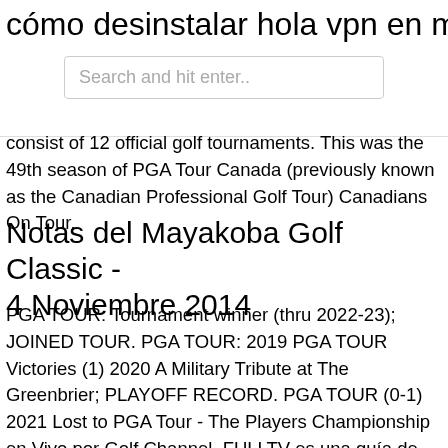cómo desinstalar hola vpn en mac
Search and hit enter..
consist of 12 official golf tournaments. This was the 49th season of PGA Tour Canada (previously known as the Canadian Professional Golf Tour) Canadians On Tour.
Notas del Mayakoba Golf Classic - 4 Noviembre 2014
PGA TOUR: Tournament winner (thru 2022-23); JOINED TOUR. PGA TOUR: 2019 PGA TOUR Victories (1) 2020 A Military Tribute at The Greenbrier; PLAYOFF RECORD. PGA TOUR (0-1) 2021 Lost to PGA Tour - The Players Championship en Vivo por Golf Channel. FULLTV es una guía de Golf Channel en idioma español, no efectuamos codificaciones ni retransmisiones de canales de televisión en directo por la Web, ofrecemos información de última hora en tu idioma acerca de la programación de Golf Channel y recursos online para el televidente que busca mirar Golf Channel en vivo HD a En nuestra página web, la tecnología